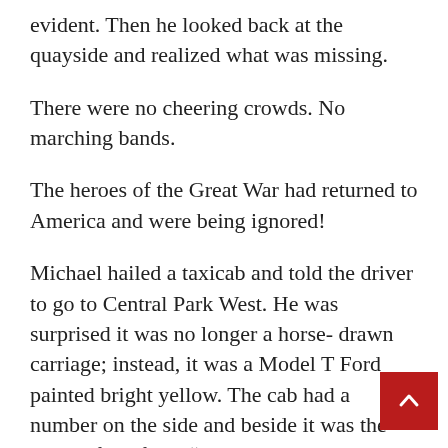evident. Then he looked back at the quayside and realized what was missing.
There were no cheering crowds. No marching bands.
The heroes of the Great War had returned to America and were being ignored!
Michael hailed a taxicab and told the driver to go to Central Park West. He was surprised it was no longer a horse- drawn carriage; instead, it was a Model T Ford painted bright yellow. The cab had a number on the side and beside it was the name of the firm, “Yellow Cab.” Michael had expected to be picked up in a somber horse-driven vehicle but so much had changed in a year. By the docks there still the smell of rotten vegetables but here in city there was a lot less manure and now he thought